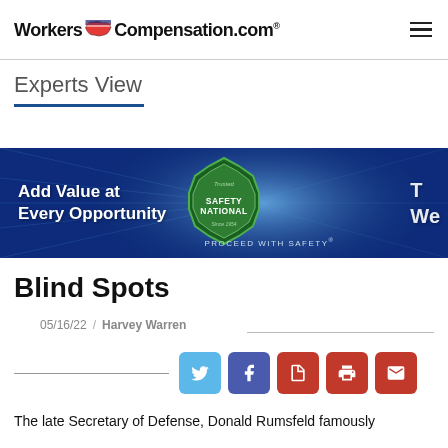WorkersCompensation.com
Experts View
[Figure (infographic): Safety National banner ad with text 'Add Value at Every Opportunity', Safety National badge logo, and 'PROCEED WITH SAFETY' tagline]
Blind Spots
05/16/22  /  Harvey Warren
The late Secretary of Defense, Donald Rumsfeld famously